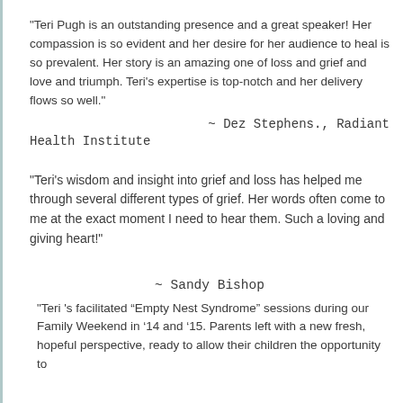"Teri Pugh is an outstanding presence and a great speaker! Her compassion is so evident and her desire for her audience to heal is so prevalent. Her story is an amazing one of loss and grief and love and triumph. Teri's expertise is top-notch and her delivery flows so well."
~ Dez Stephens., Radiant Health Institute
"Teri's wisdom and insight into grief and loss has helped me through several different types of grief. Her words often come to me at the exact moment I need to hear them. Such a loving and giving heart!"
~ Sandy Bishop
"Teri 's facilitated “Empty Nest Syndrome” sessions during our Family Weekend in ’14 and ’15. Parents left with a new fresh, hopeful perspective, ready to allow their children the opportunity to